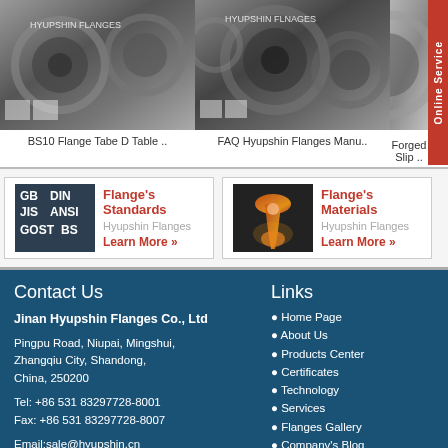[Figure (photo): Photo of BS10 Flange Tabe D Table flanges, metallic industrial flanges]
BS10 Flange Tabe D Table ..
[Figure (photo): Photo of FAQ Hyupshin Flanges Manufacturer flanges]
FAQ Hyupshin Flanges Manu..
[Figure (photo): Photo of Forged Slip flange]
Forged Slip ..
[Figure (illustration): Flange Standards icon with text GB DIN JIS ANSI GOST BS]
Flange's Standards
Hyupshin Flanges
Learn More »
[Figure (photo): Photo of molten metal pouring for Flange's Materials]
Flange's Materials
Hyupshin Flanges
Learn More »
Contact Us
Jinan Hyupshin Flanges Co., Ltd
Pingpu Road, Niupai, Mingshui, Zhangqiu City, Shandong, China, 250200
Tel: +86 531 83297728-8001
Fax: +86 531 83297728-8007
Email:sale@hyupshin.cn
http://www.hsflanges.com
Links
Home Page
About Us
Products Center
Certificates
Technology
Services
Flanges Gallery
Company's Blog
Contact Us
Flanges Market
日本語
Русский